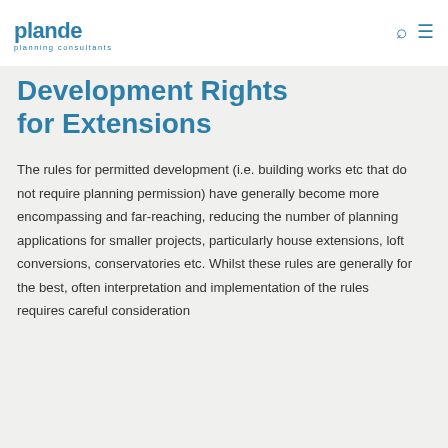plande planning consultants
Development Rights for Extensions
The rules for permitted development (i.e. building works etc that do not require planning permission) have generally become more encompassing and far-reaching, reducing the number of planning applications for smaller projects, particularly house extensions, loft conversions, conservatories etc. Whilst these rules are generally for the best, often interpretation and implementation of the rules requires careful consideration